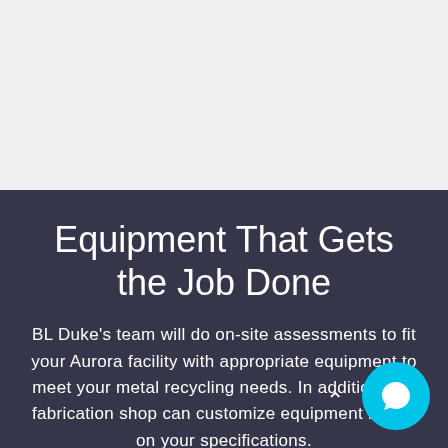[Figure (photo): Light gray image area occupying the top portion of the page]
Equipment That Gets the Job Done
BL Duke's team will do on-site assessments to fit your Aurora facility with appropriate equipment to meet your metal recycling needs. In addition, our fabrication shop can customize equipment based on your specifications.